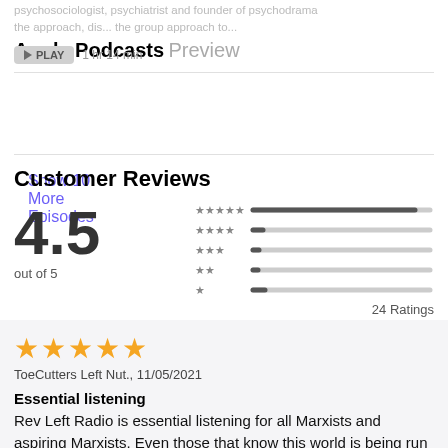Apple Podcasts Preview
PLAY  1 hr 14 min
Show 10 More Episodes
Customer Reviews
4.5 out of 5
[Figure (other): Star rating bars chart showing 5 rows of stars from 5 stars to 1 star, with horizontal bar indicators showing relative proportions of ratings at each star level. 5-star bar is longest, others are short.]
24 Ratings
★★★★★
ToeCutters Left Nut., 11/05/2021
Essential listening
Rev Left Radio is essential listening for all Marxists and aspiring Marxists. Even those that know this world is being run into the ground and want to learn about an alternative